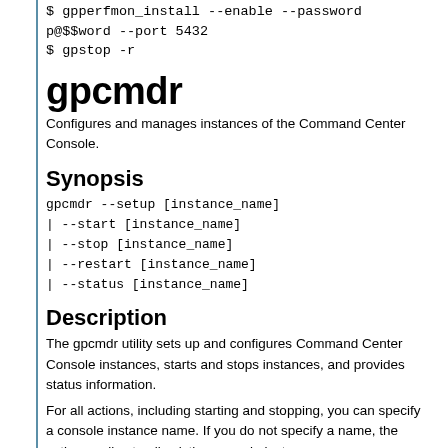$ gpperfmon_install --enable --password p@$$word --port 5432
$ gpstop -r
gpcmdr
Configures and manages instances of the Command Center Console.
Synopsis
gpcmdr --setup [instance_name]
| --start [instance_name]
| --stop [instance_name]
| --restart [instance_name]
| --status [instance_name]
Description
The gpcmdr utility sets up and configures Command Center Console instances, starts and stops instances, and provides status information.
For all actions, including starting and stopping, you can specify a console instance name. If you do not specify a name, the action applies to all existing console instances.
Options